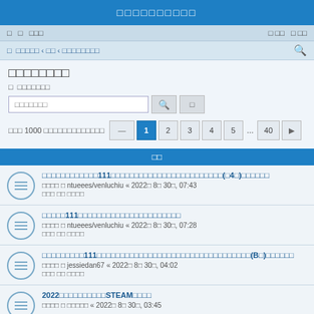□□□□□□□□□□
□ □ □□□   □ □□ □ □□
□ □□□□□ ‹ □□ ‹ □□□□□□□□
□□□□□□□□
□ □□□□□□
□□□□□□□   □□□ 1000 □□□□□□□□□□□□□   1 2 3 4 5 ... 40
□□
□□□□□□□□□□□□111□□□□□□□□□□□□□□□□□□□□□□□□(□4□)□□□□□□
□□□□ □ ntueees/venluchiu « 2022□ 8□ 30□, 07:43
□□□ □□ □□□□
□□□□□111□□□□□□□□□□□□□□□□□□□□□□
□□□□ □ ntueees/venluchiu « 2022□ 8□ 30□, 07:28
□□□ □□ □□□□
□□□□□□□□□111□□□□□□□□□□□□□□□□□□□□□□□□□□□□□□□□□□(B□)□□□□□□
□□□□ □ jessiedan67 « 2022□ 8□ 30□, 04:02
□□□ □□ □□□□
2022□□□□□□□□□□STEAM□□□□
□□□□ □ □□□□□ « 2022□ 8□ 30□, 03:45